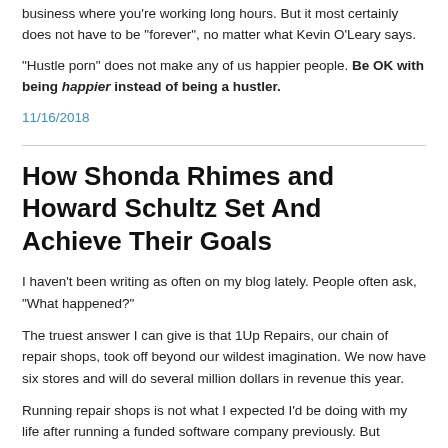business where you're working long hours. But it most certainly does not have to be “forever”, no matter what Kevin O’Leary says.
“Hustle porn” does not make any of us happier people. Be OK with being happier instead of being a hustler.
11/16/2018
How Shonda Rhimes and Howard Schultz Set And Achieve Their Goals
I haven’t been writing as often on my blog lately. People often ask, “What happened?”
The truest answer I can give is that 1Up Repairs, our chain of repair shops, took off beyond our wildest imagination. We now have six stores and will do several million dollars in revenue this year.
Running repair shops is not what I expected I’d be doing with my life after running a funded software company previously. But honestly, it’s been really good for me. It’s been 3 1/2 years since we opened a